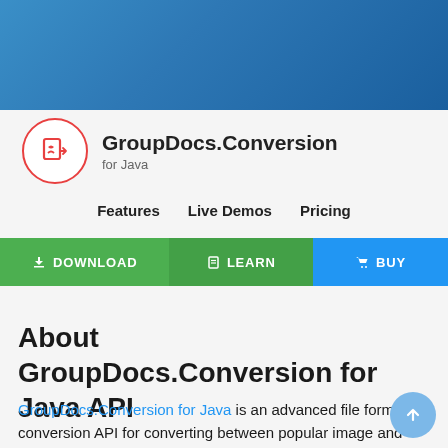[Figure (logo): GroupDocs.Conversion for Java logo with red circular icon containing a stylized B/document symbol]
GroupDocs.Conversion for Java
for Java
Features   Live Demos   Pricing
DOWNLOAD   LEARN   BUY
About GroupDocs.Conversion for Java API
GroupDocs.Conversion for Java is an advanced file format conversion API for converting between popular image and document formats such as Microsoft Office, OpenDocument, PDF, HTML, email, CAD, and much more